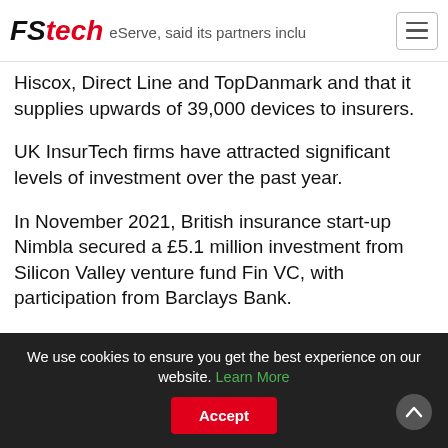FSTech — eServe, said its partners inclu…
Hiscox, Direct Line and TopDanmark and that it supplies upwards of 39,000 devices to insurers.
UK InsurTech firms have attracted significant levels of investment over the past year.
In November 2021, British insurance start-up Nimbla secured a £5.1 million investment from Silicon Valley venture fund Fin VC, with participation from Barclays Bank.
https://www.fstech.co.uk/fst/UK_InsurTech_Nimbla_Se
We use cookies to ensure you get the best experience on our website. Learn More  Accept